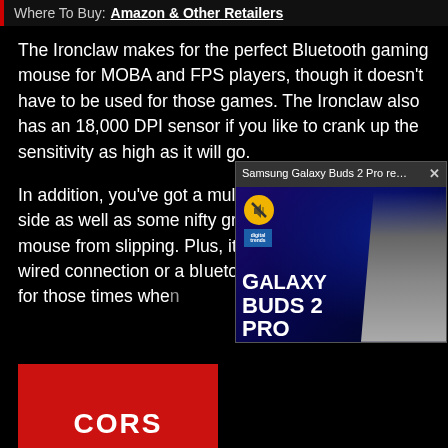Where To Buy: Amazon & Other Retailers
The Ironclaw makes for the perfect Bluetooth gaming mouse for MOBA and FPS players, though it doesn't have to be used for those games. The Ironclaw also has an 18,000 DPI sensor if you like to crank up the sensitivity as high as it will go.
In addition, you've got a multitude of buttons on the side as well as some nifty grips to help prevent the mouse from slipping. Plus, it can be used with a wired connection or a [bluetooth connection] for those times when[...]
[Figure (screenshot): Video popup overlay showing Samsung Galaxy Buds 2 Pro review with title bar 'Samsung Galaxy Buds 2 Pro review | Gr...' and close button, thumbnail showing Galaxy Buds 2 Pro branding with a presenter]
[Figure (screenshot): Corsair brand logo/advertisement in red rectangle at bottom left of page]